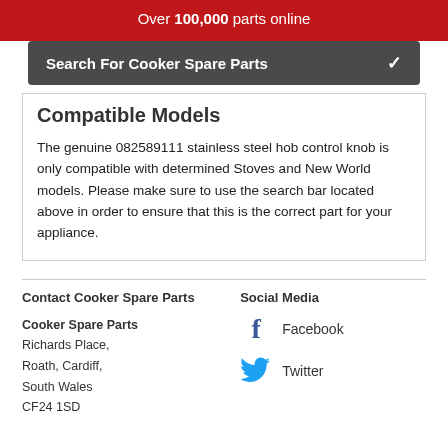Over 100,000 parts online
Search For Cooker Spare Parts
Compatible Models
The genuine 082589111 stainless steel hob control knob is only compatible with determined Stoves and New World models. Please make sure to use the search bar located above in order to ensure that this is the correct part for your appliance.
Contact Cooker Spare Parts
Cooker Spare Parts
Richards Place,
Roath, Cardiff,
South Wales
CF24 1SD
Social Media
Facebook
Twitter